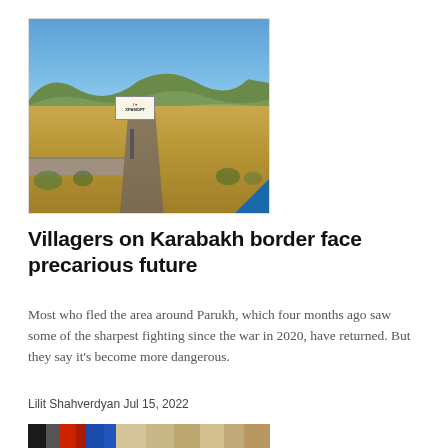[Figure (photo): Outdoor landscape photo showing a dry, grassy field under a clear blue sky. A road sign reading 'I ♥ XPAMOPT' stands in the foreground. A low stone wall runs along the left side. A dirt road leads into the distance. Hills visible in the background. Blue diagonal accent in bottom-right corner.]
Villagers on Karabakh border face precarious future
Most who fled the area around Parukh, which four months ago saw some of the sharpest fighting since the war in 2020, have returned. But they say it's become more dangerous.
Lilit Shahverdyan Jul 15, 2022
[Figure (photo): Partial bottom image showing colorful vertical stripes - appears to be flags or colored banners including black, red, blue, and beige/tan stripes.]